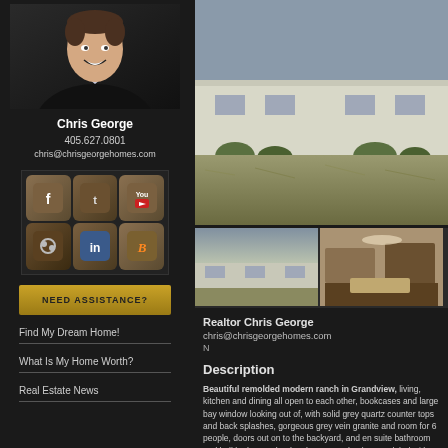[Figure (photo): Headshot of realtor Chris George in dark suit]
Chris George
405.627.0801
chris@chrisgeorgehomes.com
[Figure (other): Social media icons grid: Facebook, Twitter, YouTube, Flickr, LinkedIn, Blogger]
NEED ASSISTANCE?
Find My Dream Home!
What Is My Home Worth?
Real Estate News
[Figure (photo): Main photo of a house exterior with yard]
[Figure (photo): Thumbnail photo of house exterior]
[Figure (photo): Thumbnail photo of house interior kitchen]
Realtor Chris George
chris@chrisgeorgehomes.com
Description
Beautiful remolded modern ranch in Grandview, living, kitchen and dining all open to each other, bookcases and large bay window looking out, with solid grey quartz counter tops and back splashes, gorgeous grey vein granite and room for 6 people, doors out on to the backyard, and en suite bathroom and hall bathroom that has been completely remodeled with updated tile. The laundry is in the hallway...